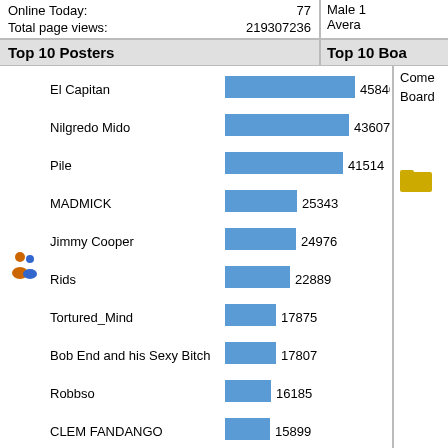Online Today: 77
Total page views: 219307236
Top 10 Posters
Top 10 Boa...
[Figure (bar-chart): Top 10 Posters]
Top 10 Topics (by Replies)
Top 10 Top...
Top Topic Starters
Most Time...
[Figure (bar-chart): Top Topic Starters]
El Ca...
Nilgre...
Dicky2...
Jimmy...
Rids
Tortur...
Robbs...
Pile